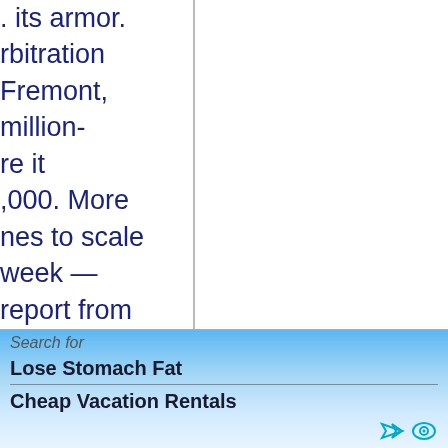. its armor. rbitration Fremont, million- re it ,000. More nes to scale week — report from and the rkforce nt and since it 60% of ed racist suits against ry with including ain, Bloom
Search for
Lose Stomach Fat
Cheap Vacation Rentals